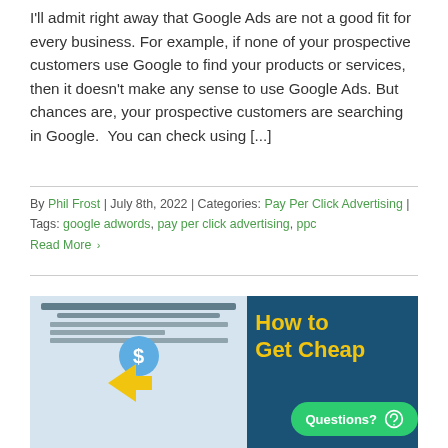I'll admit right away that Google Ads are not a good fit for every business. For example, if none of your prospective customers use Google to find your products or services, then it doesn't make any sense to use Google Ads. But chances are, your prospective customers are searching in Google. You can check using [...]
By Phil Frost | July 8th, 2022 | Categories: Pay Per Click Advertising | Tags: google adwords, pay per click advertising, ppc Read More ›
[Figure (illustration): Promotional image showing a browser/ad interface mockup on the left with a dollar sign circle and yellow arrow, and dark blue background on the right with yellow bold text reading 'How to Get Cheap...' A green 'Questions?' chat button is overlaid at the bottom right.]